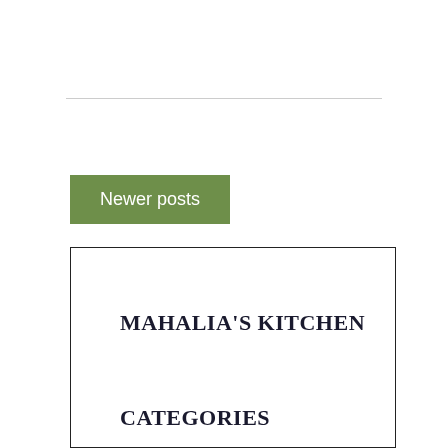Newer posts
MAHALIA'S KITCHEN
CATEGORIES